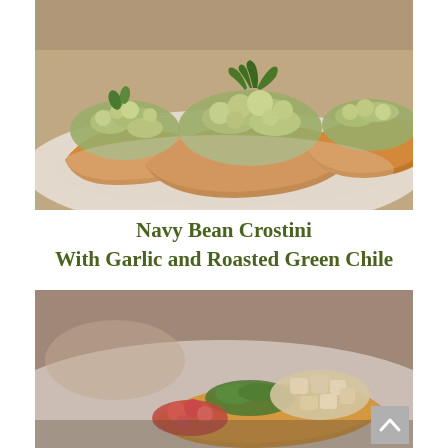[Figure (photo): Close-up photo of crostini topped with a pale green mashed bean spread garnished with fresh herb leaves, on a white plate. Multiple pieces of toasted baguette slices visible.]
Navy Bean Crostini With Garlic and Roasted Green Chile
[Figure (photo): Close-up photo of a crostini with green herbs and chunky toppings including diced vegetables on a white plate, partially blurred background.]